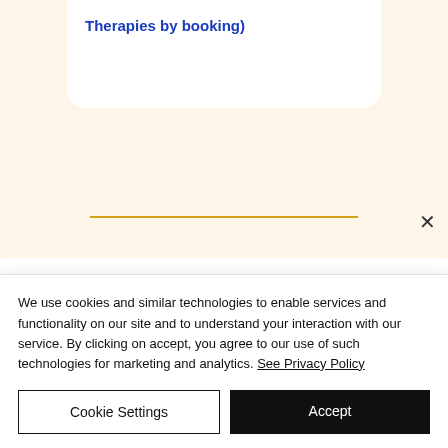Therapies by booking)
MEETINGS WITH MINDO INCLUDE:
[Figure (other): Gold bordered white box, partially visible, representing a card or content block below the section header.]
We use cookies and similar technologies to enable services and functionality on our site and to understand your interaction with our service. By clicking on accept, you agree to our use of such technologies for marketing and analytics. See Privacy Policy
Cookie Settings
Accept